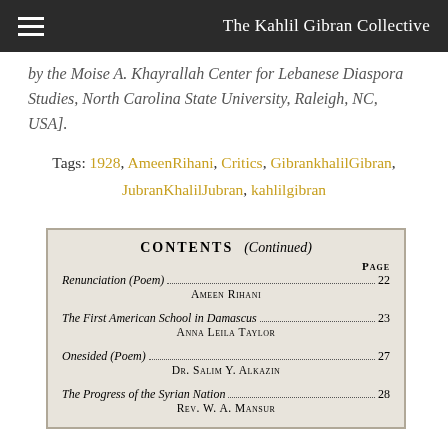The Kahlil Gibran Collective
by the Moise A. Khayrallah Center for Lebanese Diaspora Studies, North Carolina State University, Raleigh, NC, USA].
Tags: 1928, AmeenRihani, Critics, GibrankhalilGibran, JubranKhalilJubran, kahlilgibran
| Title / Author | Page |
| --- | --- |
| Renunciation (Poem)
Ameen Rihani | 22 |
| The First American School in Damascus
Anna Leila Taylor | 23 |
| Onesided (Poem)
Dr. Salim Y. Alkazin | 27 |
| The Progress of the Syrian Nation
Rev. W. A. Mansur | 28 |